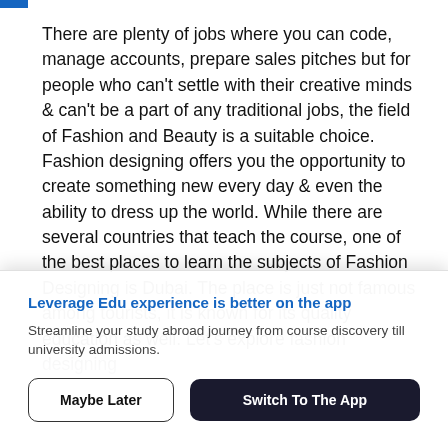There are plenty of jobs where you can code, manage accounts, prepare sales pitches but for people who can't settle with their creative minds & can't be a part of any traditional jobs, the field of Fashion and Beauty is a suitable choice. Fashion designing offers you the opportunity to create something new every day & even the ability to dress up the world. While there are several countries that teach the course, one of the best places to learn the subjects of Fashion Designing is Dubai. The place is just not famous among tourists, it is known for its quality education as well. Let's explore fashion designing
Leverage Edu experience is better on the app
Streamline your study abroad journey from course discovery till university admissions.
Maybe Later
Switch To The App